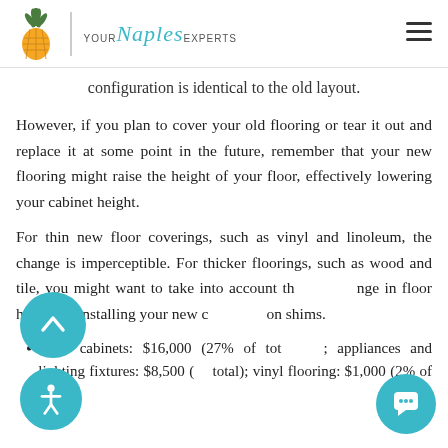YOUR Naples EXPERTS
configuration is identical to the old layout.
However, if you plan to cover your old flooring or tear it out and replace it at some point in the future, remember that your new flooring might raise the height of your floor, effectively lowering your cabinet height.
For thin new floor coverings, such as vinyl and linoleum, the change is imperceptible. For thicker floorings, such as wood and tile, you might want to take into account the change in floor height by installing your new cabinets on shims.
Cost: cabinets: $16,000 (27% of total); appliances and lighting fixtures: $8,500 (1... total); vinyl flooring: $1,000 (2% of total)